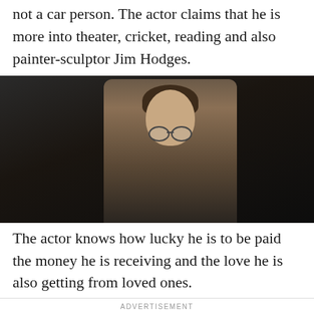not a car person. The actor claims that he is more into theater, cricket, reading and also painter-sculptor Jim Hodges.
[Figure (photo): A young man with round glasses and brown hair wearing a brown jacket over a grey shirt, standing in a dark industrial-looking background. The character appears to be Harry Potter (Daniel Radcliffe) from the film series.]
The actor knows how lucky he is to be paid the money he is receiving and the love he is also getting from loved ones.
ADVERTISEMENT